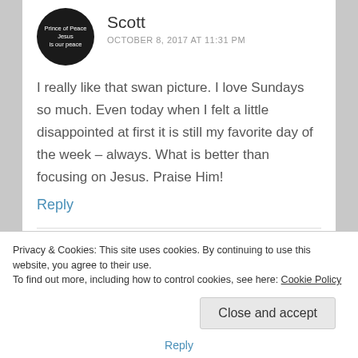[Figure (photo): Circular avatar with black background and white text reading 'Prince of Peace Jesus is our peace']
Scott
OCTOBER 8, 2017 AT 11:31 PM
I really like that swan picture. I love Sundays so much. Even today when I felt a little disappointed at first it is still my favorite day of the week – always. What is better than focusing on Jesus. Praise Him!
Reply
[Figure (photo): Circular avatar showing a person with dark hair with blue highlights]
thewayonline
Privacy & Cookies: This site uses cookies. By continuing to use this website, you agree to their use.
To find out more, including how to control cookies, see here: Cookie Policy
Close and accept
Reply